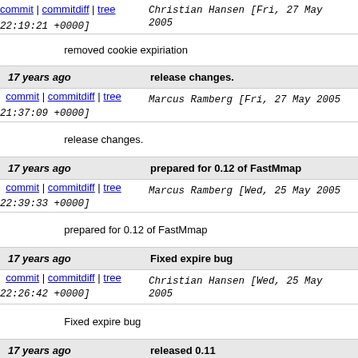commit | commitdiff | tree  Christian Hansen [Fri, 27 May 2005 22:19:21 +0000]
removed cookie expiriation
17 years ago   release changes.
commit | commitdiff | tree  Marcus Ramberg [Fri, 27 May 2005 21:37:09 +0000]
release changes.
17 years ago   prepared for 0.12 of FastMmap
commit | commitdiff | tree  Marcus Ramberg [Wed, 25 May 2005 22:39:33 +0000]
prepared for 0.12 of FastMmap
17 years ago   Fixed expire bug
commit | commitdiff | tree  Christian Hansen [Wed, 25 May 2005 22:26:42 +0000]
Fixed expire bug
17 years ago   released 0.11